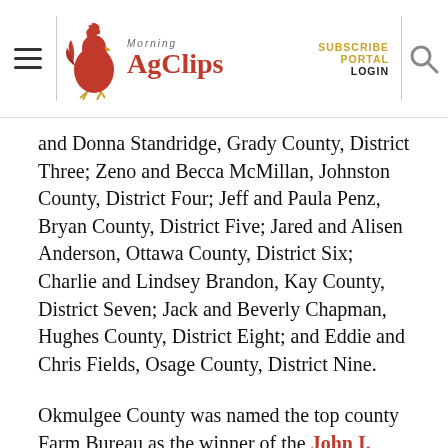Morning AgClips — SUBSCRIBE PORTAL LOGIN
and Donna Standridge, Grady County, District Three; Zeno and Becca McMillan, Johnston County, District Four; Jeff and Paula Penz, Bryan County, District Five; Jared and Alisen Anderson, Ottawa County, District Six; Charlie and Lindsey Brandon, Kay County, District Seven; Jack and Beverly Chapman, Hughes County, District Eight; and Eddie and Chris Fields, Osage County, District Nine.
Okmulgee County was named the top county Farm Bureau as the winner of the John I. Taylor Award, and Comanche County was recognized for its programs with the Lewis H. Munn Award. Various county Farm Bureaus also were honored for excellence with Presidential Star Awards.
Dr. Thomas Coon was honored with the Distinguished Service to OKFB Award; River and Elizabeth Mitchell of